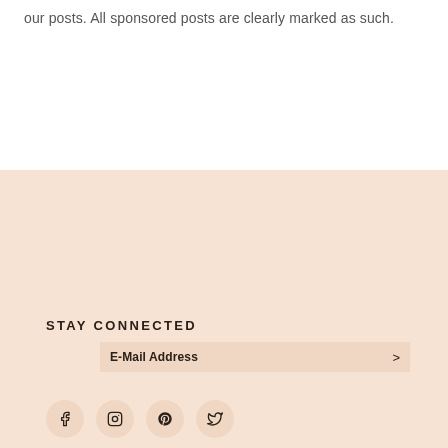our posts. All sponsored posts are clearly marked as such.
STAY CONNECTED
E-Mail Address >
[Figure (infographic): Social media icons: Facebook, Instagram, Pinterest, Twitter in circular buttons]